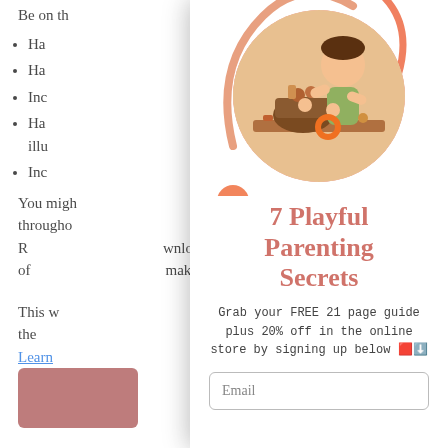Be on th... by that:
Ha...
Ha...
Inc...
Ha... imple illu...
Inc...
You migh... quotes througho... her book – R... vnload for all of... makes so much...
This w... ost help get the... can
Learn...
[Figure (photo): Circular photo of a young child playing with toys/blocks on a table]
7 Playful Parenting Secrets
Grab your FREE 21 page guide plus 20% off in the online store by signing up below 🔲⬇️
Email